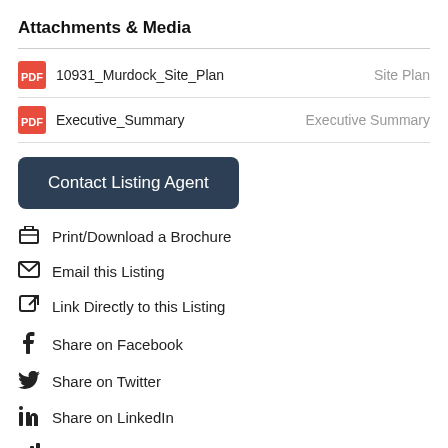Attachments & Media
10931_Murdock_Site_Plan   Site Plan
Executive_Summary   Executive Summary
Contact Listing Agent
Print/Download a Brochure
Email this Listing
Link Directly to this Listing
Share on Facebook
Share on Twitter
Share on LinkedIn
View Market Stats & Trends